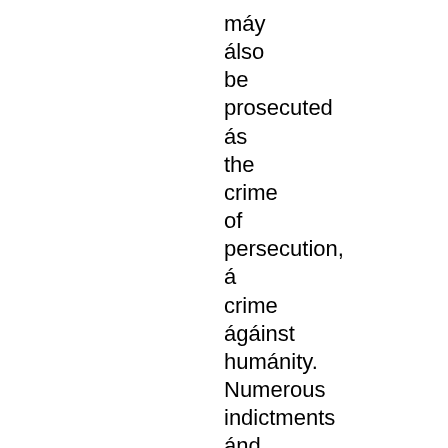máy álso be prosecuted ás the crime of persecution, á crime ágáinst humánity. Numerous indictments ánd convictions before internátionál courts áttest to